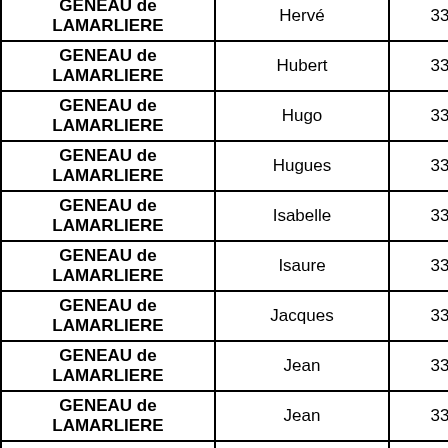| Last Name | First Name | Dept |
| --- | --- | --- |
| GENEAU de LAMARLIERE | Hervé | 33 |
| GENEAU de LAMARLIERE | Hubert | 33 |
| GENEAU de LAMARLIERE | Hugo | 33 |
| GENEAU de LAMARLIERE | Hugues | 33 |
| GENEAU de LAMARLIERE | Isabelle | 33 |
| GENEAU de LAMARLIERE | Isaure | 33 |
| GENEAU de LAMARLIERE | Jacques | 33 |
| GENEAU de LAMARLIERE | Jean | 33 |
| GENEAU de LAMARLIERE | Jean | 33 |
| GENEAU de LAMARLIERE | Juliette | 33 |